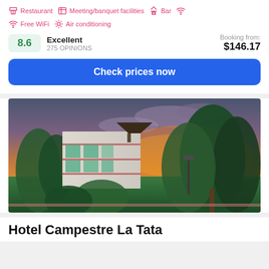Restaurant
Meeting/banquet facilities
Bar
Free WiFi
Air conditioning
8.6  Excellent  275 OPINIONS  Booking from:  $146.17
Check prices now
[Figure (photo): Photo of Hotel Campestre La Tata showing a multi-story white building with pink/teal balconies surrounded by lush tropical greenery against a dramatic orange and purple sunset sky]
Hotel Campestre La Tata